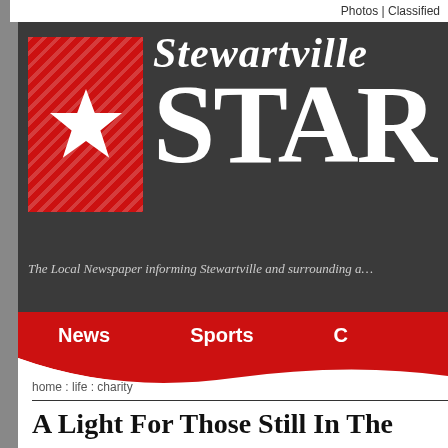Photos | Classified
[Figure (logo): Stewartville Star newspaper logo: red square with white star and diagonal stripes on left, large white bold italic text 'Stewartville STAR' on dark grey background]
The Local Newspaper informing Stewartville and surrounding a…
News    Sports    C…
home : life : charity
A Light For Those Still In The…
, North American Precis Syndicate
New YorkNY